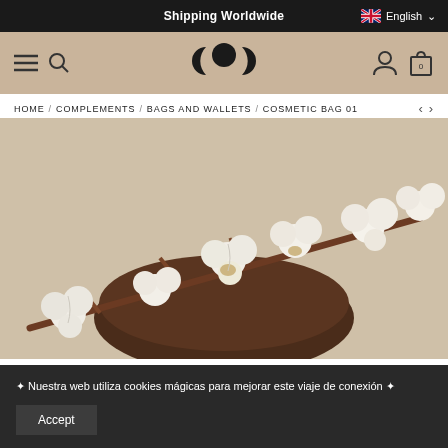Shipping Worldwide | English
[Figure (logo): Triple moon symbol logo with three circles/crescents]
HOME / COMPLEMENTS / BAGS AND WALLETS / COSMETIC BAG 01
[Figure (photo): Cotton plant branches with white cotton bolls arranged on a dark wooden surface against a beige background]
✦ Nuestra web utiliza cookies mágicas para mejorar este viaje de conexión ✦
Accept